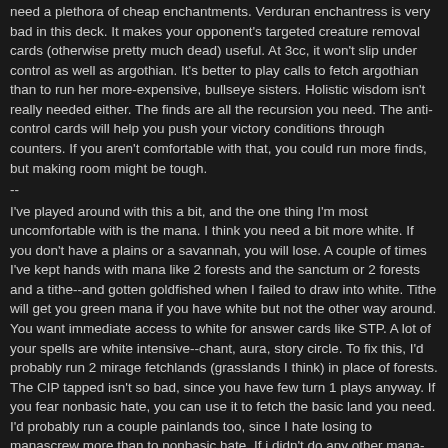need a plethora of cheap enchantments. Verduran enchantress is very bad in this deck. It makes your opponent's targeted creature removal cards (otherwise pretty much dead) useful. At 3cc, it won't slip under control as well as argothian. It's better to play calls to fetch argothian than to run her more-expensive, bullseye sisters. Holistic wisdom isn't really needed either. The finds are all the recursion you need. The anti-control cards will help you push your victory conditions through counters. If you aren't comfortable with that, you could run more finds, but making room might be tough.
--
I've played around with this a bit, and the one thing I'm most uncomfortable with is the mana. I think you need a bit more white. If you don't have a plains or a savannah, you will lose. A couple of times I've kept hands with mana like 2 forests and the sanctum or 2 forests and a tithe--and gotten goldfished when I failed to draw into white. Tithe will get you green mana if you have white but not the other way around. You want immediate access to white for answer cards like STP. A lot of your spells are white intensive--chant, aura, story circle. To fix this, I'd probably run 2 mirage fetchlands (grasslands I think) in place of forests. The CIP tapped isn't so bad, since you have few turn 1 plays anyway. If you fear nonbasic hate, you can use it to fetch the basic land you need. I'd probably run a couple painlands too, since I hate losing to manascrew more than to nonbasic hate. If i didn't do any other mana-fixing, I would at least turn another forest into a plains.
By Morphling on Thursday, January 17, 2002 - 06:54 pm:
This version is better against miracle gro.
4xargothian enchantress
4xswords to plowshares